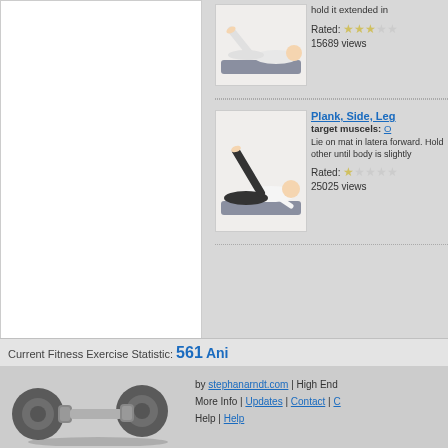[Figure (illustration): Exercise thumbnail showing person lying on mat performing leg raise]
hold it extended in
Rated:
15689 views
[Figure (illustration): Exercise thumbnail showing person lying on side performing side plank leg raise]
Plank, Side, Leg
target muscels: O
Lie on mat in latera forward. Hold other until body is slightly
Rated:
25025 views
Current Fitness Exercise Statistic: 561 Ani
by stephanarndt.com | High End
More Info | Updates | Contact | C
Help | Help
[Figure (illustration): 3D rendered dumbbell/weight graphic]